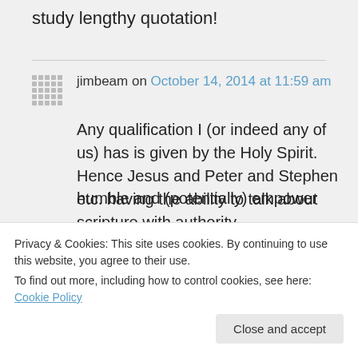study lengthy quotation!
jimbeam on October 14, 2014 at 11:59 am
Any qualification I (or indeed any of us) has is given by the Holy Spirit. Hence Jesus and Peter and Stephen etc. having the ability to talk about scripture with authority
humble and (potentially) empower
Privacy & Cookies: This site uses cookies. By continuing to use this website, you agree to their use.
To find out more, including how to control cookies, see here: Cookie Policy